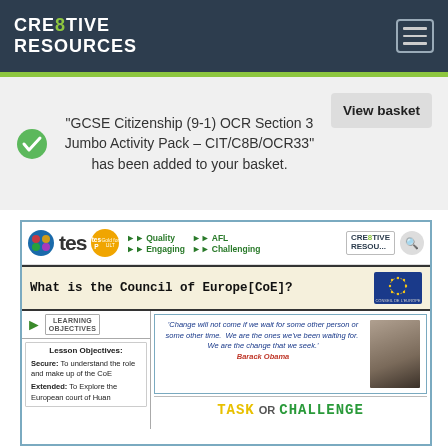CRE8TIVE RESOURCES
“GCSE Citizenship (9-1) OCR Section 3 Jumbo Activity Pack – CIT/C8B/OCR33” has been added to your basket.
View basket
[Figure (screenshot): Preview of educational resource: 'What is the Council of Europe [CoE]?' lesson resource featuring TES logos, learning objectives, Barack Obama quote, and Task or Challenge banner.]